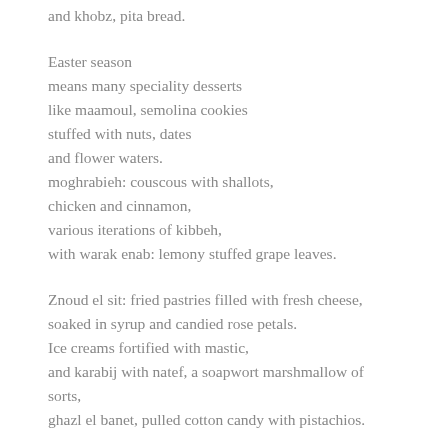and khobz, pita bread.
Easter season
means many speciality desserts
like maamoul, semolina cookies
stuffed with nuts, dates
and flower waters.
moghrabieh: couscous with shallots,
chicken and cinnamon,
various iterations of kibbeh,
with warak enab: lemony stuffed grape leaves.
Znoud el sit: fried pastries filled with fresh cheese,
soaked in syrup and candied rose petals.
Ice creams fortified with mastic,
and karabij with natef, a soapwort marshmallow of sorts,
ghazl el banet, pulled cotton candy with pistachios.